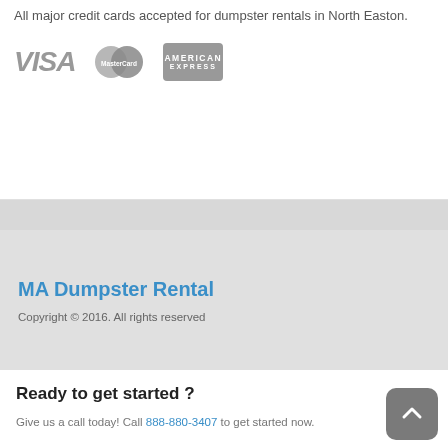All major credit cards accepted for dumpster rentals in North Easton.
[Figure (logo): VISA, MasterCard, and American Express payment logos displayed in gray]
[Figure (illustration): Gray decorative divider strip]
MA Dumpster Rental
Copyright © 2016. All rights reserved
Ready to get started ?
Give us a call today! Call 888-880-3407 to get started now.